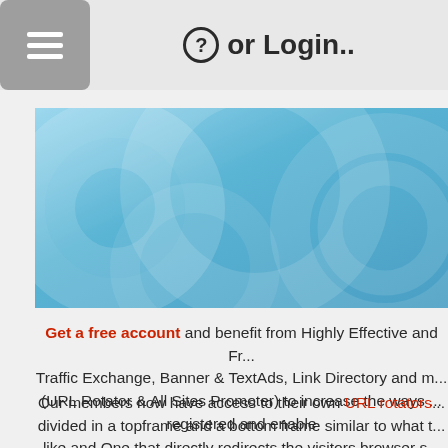? or Login..
[Figure (illustration): Blue gradient banner with decorative circular patterns]
Get a free account and benefit from Highly Effective and Fr... Traffic Exchange, Banner & TextAds, Link Directory and m... (URL Rotator & All Sites Promoter) to increase the ways ... registered and enable
Our members now have access to their own URL rotators ... divided in a topframe and a bottom frame similar to what t... like and One that directly redirects the visitors browser s... registered. If you have no sites registered both rotators wi... to be shown set in our system. Another add-on we develo... lets our members promote all their registered a